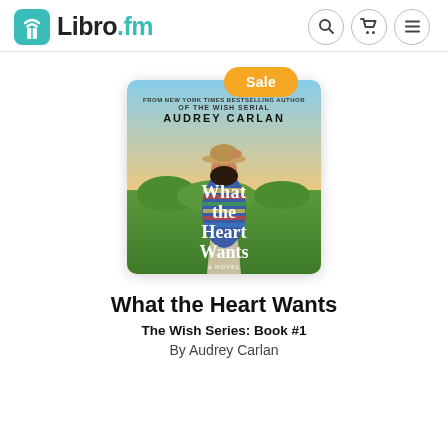Libro.fm
[Figure (illustration): Book cover for 'What the Heart Wants' by Audrey Carlan. Shows a woman from behind wearing a colorful patterned wrap and a tan wide-brim hat, standing on a rural road with green fields and a sunset sky. White title text overlaid. Orange 'Sale' badge at top.]
What the Heart Wants
The Wish Series: Book #1
By Audrey Carlan